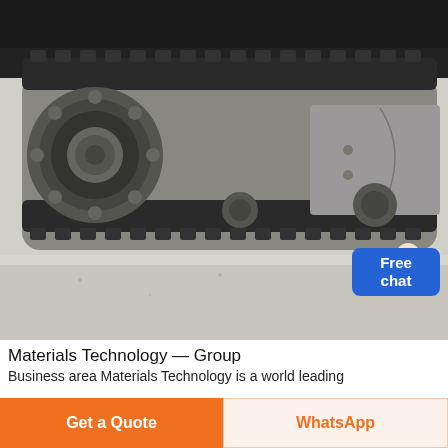[Figure (photo): Close-up photograph of a rubber/steel track undercarriage system of a construction excavator or tracked machine, showing the track links, drive sprocket wheel on the left, and a grey metal side panel. The background is a concrete/gravel surface. A 'Free chat' badge with a customer service representative icon appears in the top-right of the image.]
Materials Technology — Group
Business area Materials Technology is a world leading
Get a Quote
WhatsApp